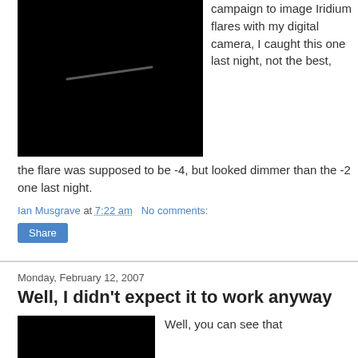[Figure (photo): Night sky photograph showing a dark background with a faint streak of light (Iridium flare trail)]
campaign to image Iridium flares with my digital camera, I caught this one last night, not the best, the flare was supposed to be -4, but looked dimmer than the -2 one last night.
Ian Musgrave at 7:22 am   No comments:
Share
Monday, February 12, 2007
Well, I didn't expect it to work anyway
[Figure (photo): Night sky photograph, bottom of page, partially visible]
Well, you can see that